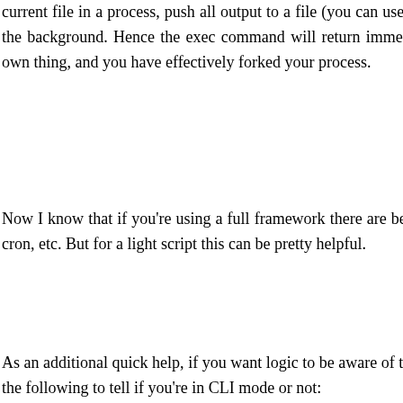current file in a process, push all output to a file (you can use /dev/null if you want instead) and run it in the background. Hence the exec command will return immediately, the script will be off and doing its own thing, and you have effectively forked your process.
Now I know that if you're using a full framework there are better things you can do with queues, events, cron, etc. But for a light script this can be pretty helpful.
As an additional quick help, if you want logic to be aware of the process being executed then you can use the following to tell if you're in CLI mode or not:
Leave a Reply
Name (required)
Mail (will not be published) (required)
Website
We use cookies to ensure that we give you the best experience on our website. If you continue to use this site we will assume that you are happy with it.